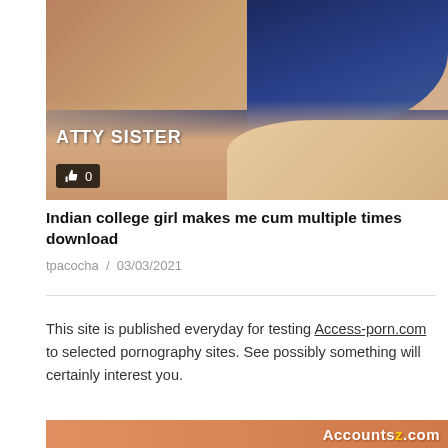[Figure (photo): Thumbnail image of a person lying down with a watermark reading 'ATTY SISTER' and a like badge showing thumbs up icon and 0]
Indian college girl makes me cum multiple times download
tpacocha / 03/03/2021
This site is published everyday for testing Access-porn.com to selected pornography sites. See possibly something will certainly interest you.
[Figure (photo): Bottom banner advertisement for Accountsz.com with orange background]